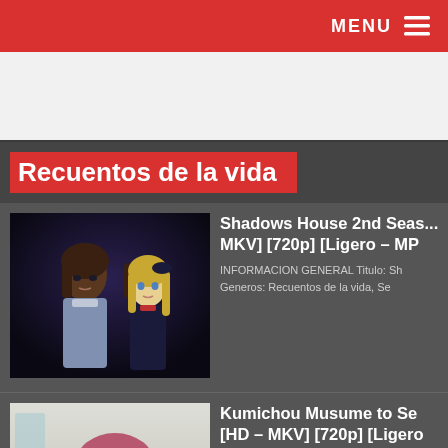MENU ☰
[Figure (other): White advertisement banner area]
Recuentos de la vida
[Figure (photo): Anime screenshot from Shadows House 2nd Season showing two anime girls in dark setting]
Shadows House 2nd Seas... MKV] [720p] [Ligero – MP
INFORMACION GENERAL Titulo: Sh Generos: Recuentos de la vida, Se
[Figure (photo): Anime screenshot from Kumichou Musume to Sewagakari showing a pink-haired anime girl]
Kumichou Musume to Se [HD – MKV] [720p] [Ligero
INFORMACION GENERAL Titulo: – K Yakuza's Guide to Babysitting Tip...